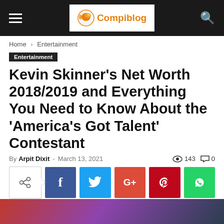Compiblog
Home › Entertainment
Entertainment
Kevin Skinner's Net Worth 2018/2019 and Everything You Need to Know About the 'America's Got Talent' Contestant
By Arpit Dixit - March 13, 2021   143   0
[Figure (other): Social share buttons: share, Facebook, Twitter, Google+, Pinterest, WhatsApp]
[Figure (photo): Bottom portion of a photo showing a person, partially visible]